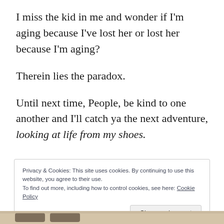I miss the kid in me and wonder if I'm aging because I've lost her or lost her because I'm aging?
Therein lies the paradox.
Until next time, People, be kind to one another and I'll catch ya the next adventure, looking at life from my shoes.
Privacy & Cookies: This site uses cookies. By continuing to use this website, you agree to their use.
To find out more, including how to control cookies, see here: Cookie Policy
Close and accept
[Figure (photo): Partial view of what appears to be furniture or a sofa at the bottom edge of the page]